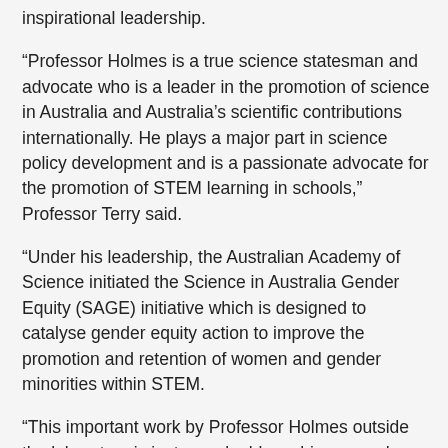inspirational leadership.
“Professor Holmes is a true science statesman and advocate who is a leader in the promotion of science in Australia and Australia’s scientific contributions internationally. He plays a major part in science policy development and is a passionate advocate for the promotion of STEM learning in schools,” Professor Terry said.
“Under his leadership, the Australian Academy of Science initiated the Science in Australia Gender Equity (SAGE) initiative which is designed to catalyse gender equity action to improve the promotion and retention of women and gender minorities within STEM.
“This important work by Professor Holmes outside the laboratory is just as valuable as his research, where he continues to inspire science professionals and those aspiring to enter the field to achieve great things.”